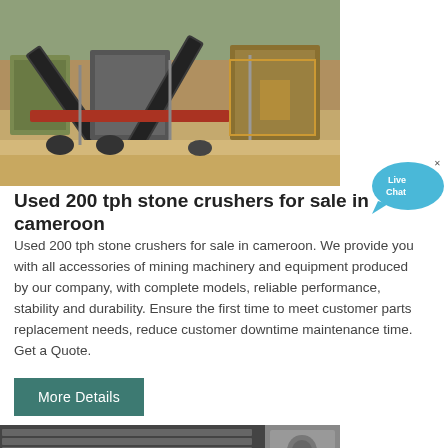[Figure (photo): Aerial view of a large mobile stone crushing plant with conveyor belts operating in an open quarry/desert environment]
Used 200 tph stone crushers for sale in cameroon
Used 200 tph stone crushers for sale in cameroon. We provide you with all accessories of mining machinery and equipment produced by our company, with complete models, reliable performance, stability and durability. Ensure the first time to meet customer parts replacement needs, reduce customer downtime maintenance time. Get a Quote.
[Figure (other): Live Chat bubble button overlay in blue]
More Details
[Figure (photo): Partial bottom photo showing industrial machinery/equipment]